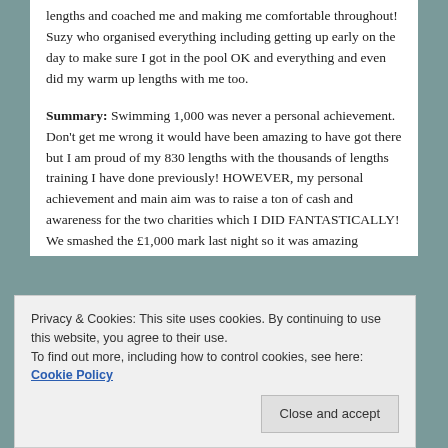lengths and coached me and making me comfortable throughout! Suzy who organised everything including getting up early on the day to make sure I got in the pool OK and everything and even did my warm up lengths with me too.
Summary: Swimming 1,000 was never a personal achievement. Don't get me wrong it would have been amazing to have got there but I am proud of my 830 lengths with the thousands of lengths training I have done previously! HOWEVER, my personal achievement and main aim was to raise a ton of cash and awareness for the two charities which I DID FANTASTICALLY! We smashed the £1,000 mark last night so it was amazing
Privacy & Cookies: This site uses cookies. By continuing to use this website, you agree to their use.
To find out more, including how to control cookies, see here: Cookie Policy
Close and accept